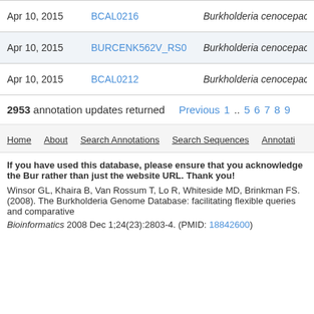| Date | Locus Tag | Organism |
| --- | --- | --- |
| Apr 10, 2015 | BCAL0216 | Burkholderia cenocepacia J23 |
| Apr 10, 2015 | BURCENK562V_RS0 | Burkholderia cenocepacia K56 |
| Apr 10, 2015 | BCAL0212 | Burkholderia cenocepacia J23 |
2953 annotation updates returned Previous 1 .. 5 6 7 8 9
Home About Search Annotations Search Sequences Annotati
If you have used this database, please ensure that you acknowledge the Bur rather than just the website URL. Thank you!
Winsor GL, Khaira B, Van Rossum T, Lo R, Whiteside MD, Brinkman FS. (2008). The Burkholderia Genome Database: facilitating flexible queries and comparative
Bioinformatics 2008 Dec 1;24(23):2803-4. (PMID: 18842600)